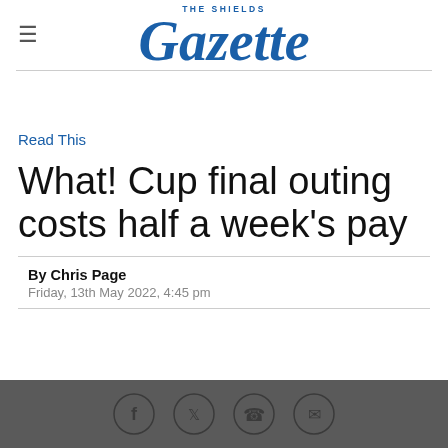THE SHIELDS Gazette
Read This
What! Cup final outing costs half a week's pay
By Chris Page
Friday, 13th May 2022, 4:45 pm
[Figure (infographic): Social sharing icons: Facebook, Twitter, WhatsApp, Email on dark grey bar]